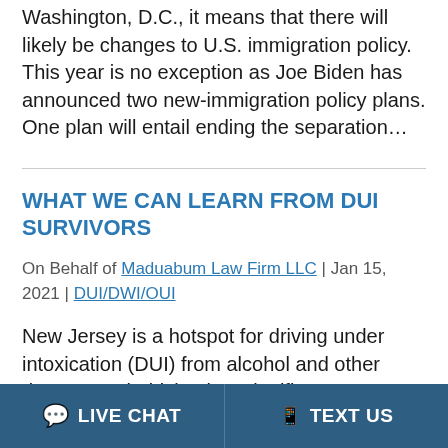Washington, D.C., it means that there will likely be changes to U.S. immigration policy. This year is no exception as Joe Biden has announced two new-immigration policy plans. One plan will entail ending the separation…
WHAT WE CAN LEARN FROM DUI SURVIVORS
On Behalf of Maduabum Law Firm LLC | Jan 15, 2021 | DUI/DWI/OUI
New Jersey is a hotspot for driving under intoxication (DUI) from alcohol and other drugs. Drunk driving is a significant…
LIVE CHAT   TEXT US